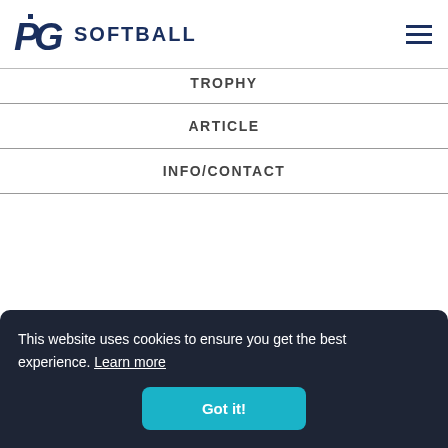PG SOFTBALL
TROPHY
ARTICLE
INFO/CONTACT
This website uses cookies to ensure you get the best experience. Learn more
Got it!